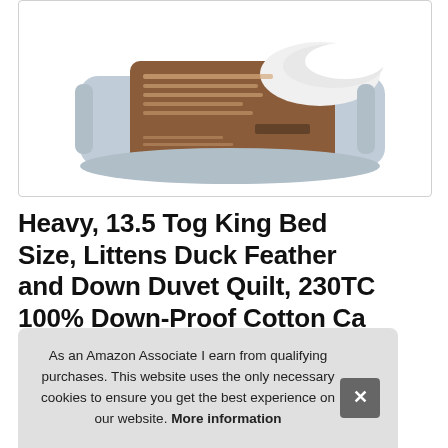[Figure (photo): Product photo of a packaged duvet/comforter in a grey plastic bag with a brown label, shown against a white background inside a rounded-corner bordered box.]
Heavy, 13.5 Tog King Bed Size, Littens Duck Feather and Down Duvet Quilt, 230TC 100% Down-Proof Cotton Ca 22
As an Amazon Associate I earn from qualifying purchases. This website uses the only necessary cookies to ensure you get the best experience on our website. More information